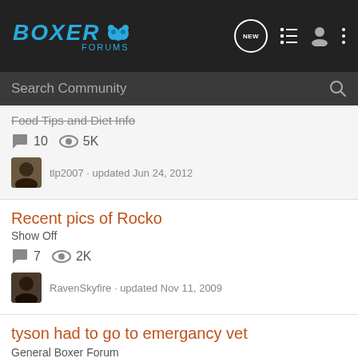Boxer Forums
Search Community
Food Tips and Diet Info · 10 comments · 5K views · tlp2007 · updated Jun 24, 2012
Recent pics of Rocko
Show Off
7 comments · 2K views · RavenSkyfire · updated Nov 11, 2009
tyson had to go to emergancy vet
General Boxer Forum
17 comments · 6K views